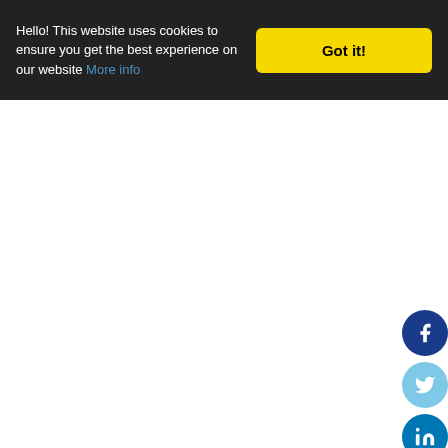Hello! This website uses cookies to ensure you get the best experience on our website More info  Got it!
[Figure (infographic): Social media sharing buttons on the right side: Facebook (dark blue), Twitter (light blue), LinkedIn (blue), Email (red/orange), WhatsApp (green)]